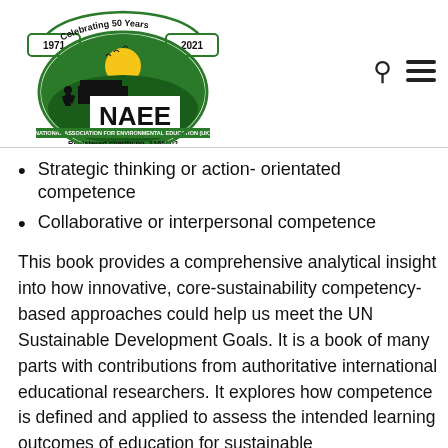[Figure (logo): NAEE (National Association for Environmental Education UK) logo with 'Celebrating 50 Years 1971–2021' banner and 'Registered charity no. 1166502']
Strategic thinking or action- orientated competence
Collaborative or interpersonal competence
This book provides a comprehensive analytical insight into how innovative, core-sustainability competency-based approaches could help us meet the UN Sustainable Development Goals. It is a book of many parts with contributions from authoritative international educational researchers. It explores how competence is defined and applied to assess the intended learning outcomes of education for sustainable development(ESD). Its primary focus is on practicing and professional educators who could use competencies to transform the way they teach to facilitate the creation of cadres of sustainability change